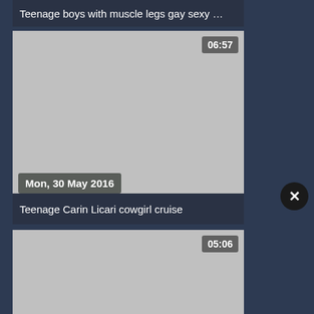Teenage boys with muscle legs gay sexy …
[Figure (screenshot): Video thumbnail placeholder, grey, with duration badge 06:57, date badge Mon, 30 May 2016, and title Teenage Carin Licari cowgirl cruise]
Mon, 30 May 2016
Teenage Carin Licari cowgirl cruise
[Figure (screenshot): Video thumbnail placeholder, grey, with duration badge 05:06]